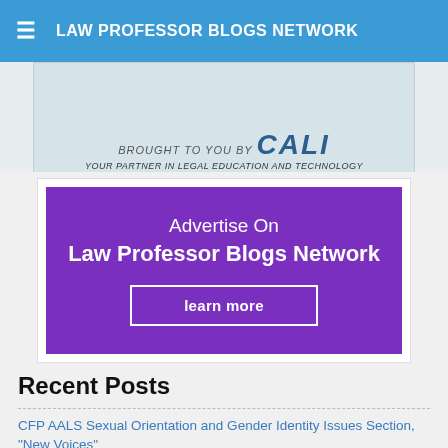LAW PROFESSOR BLOGS NETWORK
[Figure (other): Partial banner advertisement: 'BROUGHT TO YOU BY CALI - YOUR PARTNER IN LEGAL EDUCATION AND TECHNOLOGY']
[Figure (infographic): Purple advertisement box: 'Advertise On Law Professor Blogs Network' with 'learn more' button]
Recent Posts
CFP AALS Sexual Orientation and Gender Identity Issues Section, "New Voices"
A Study of the Pro Se Gender Gap